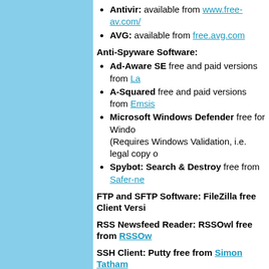Antivir: available from www.free-av.com/
AVG: available from free.avg.com
Anti-Spyware Software:
Ad-Aware SE free and paid versions from La...
A-Squared free and paid versions from Emsis...
Microsoft Windows Defender free for Windo... (Requires Windows Validation, i.e. legal copy ...
Spybot: Search & Destroy free from Safer-ne...
FTP and SFTP Software: FileZilla free Client Versi...
RSS Newsfeed Reader: RSSOwl free from RSSOw...
SSH Client: Putty free from Simon Tatham
The Chebucto Office does not recommend using th... for any use except for accessing Microsoft's own Wi... popular web browser has been repeatedly successf... particular seeking to break into home computers to ... such as sending out spam, sending out viruses to b... being used to disrupt services on other computer sy...
After many reports about vulnerabilities for Microsof... email programs, and the constant stream of user co...